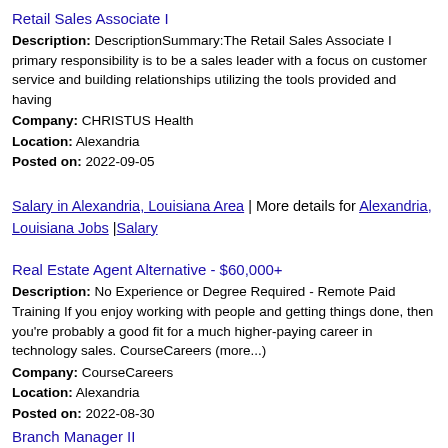Retail Sales Associate I
Description: DescriptionSummary:The Retail Sales Associate I primary responsibility is to be a sales leader with a focus on customer service and building relationships utilizing the tools provided and having
Company: CHRISTUS Health
Location: Alexandria
Posted on: 2022-09-05
Salary in Alexandria, Louisiana Area | More details for Alexandria, Louisiana Jobs |Salary
Real Estate Agent Alternative - $60,000+
Description: No Experience or Degree Required - Remote Paid Training If you enjoy working with people and getting things done, then you're probably a good fit for a much higher-paying career in technology sales. CourseCareers (more...)
Company: CourseCareers
Location: Alexandria
Posted on: 2022-08-30
Branch Manager II
Description: At Lendmark Financial Services, we believe the success of our company is specifically attributable to the quality of our employees and their commitment to our customers. We